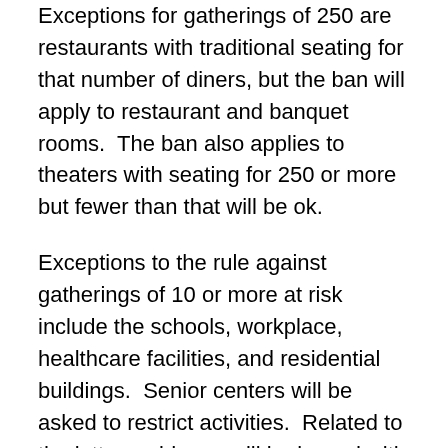Exceptions for gatherings of 250 are restaurants with traditional seating for that number of diners, but the ban will apply to restaurant and banquet rooms.  The ban also applies to theaters with seating for 250 or more but fewer than that will be ok.
Exceptions to the rule against gatherings of 10 or more at risk include the schools, workplace, healthcare facilities, and residential buildings.  Senior centers will be asked to restrict activities.  Related to the latter, guidance will be issued with respect to visiting care facilities.
Asked if social distancing applied to press conferences such as the one ongoing, Bowser replied that ideally a press conference would occur in the emergency operations center, but that could lead to someone infecting the response team.  Her office is considering alternate ways to hold press conferences.